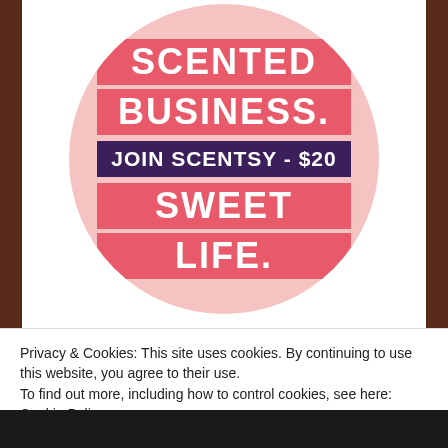[Figure (illustration): Pink circle graphic with text: SCENTED BUSINESS (pink banners), JOIN SCENTSY - $20 (dark purple banner), SWEET LIFE. (pink banners), on a light pink circular background.]
Privacy & Cookies: This site uses cookies. By continuing to use this website, you agree to their use.
To find out more, including how to control cookies, see here: Cookie Policy
Close and accept